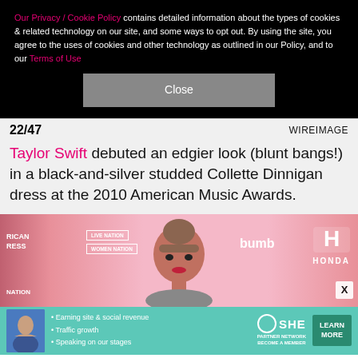Our Privacy / Cookie Policy contains detailed information about the types of cookies & related technology on our site, and some ways to opt out. By using the site, you agree to the uses of cookies and other technology as outlined in our Policy, and to our Terms of Use
Close
22/47   WIREIMAGE
Taylor Swift debuted an edgier look (blunt bangs!) in a black-and-silver studded Collette Dinnigan dress at the 2010 American Music Awards.
[Figure (photo): Photo of Taylor Swift at a pink event backdrop with brand logos: Live Nation, Women Nation, Bumble, Honda. She has blunt bangs and red lipstick.]
[Figure (infographic): SHE Partner Network advertisement banner on teal background. Left side shows a woman thumbnail. Middle lists bullet points: Earning site & social revenue, Traffic growth, Speaking on our stages. SHE Media logo in center. Learn More button on right.]